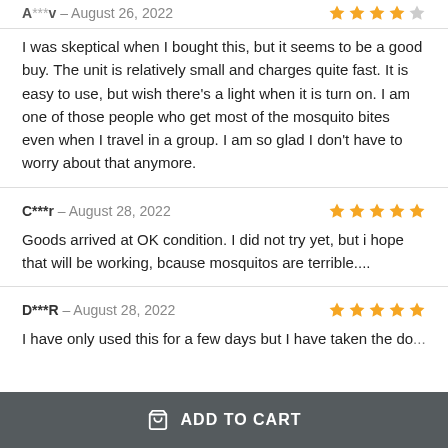A***v – August 26, 2022 (4 stars)
I was skeptical when I bought this, but it seems to be a good buy. The unit is relatively small and charges quite fast. It is easy to use, but wish there's a light when it is turn on. I am one of those people who get most of the mosquito bites even when I travel in a group. I am so glad I don't have to worry about that anymore.
C***r – August 28, 2022 (5 stars)
Goods arrived at OK condition. I did not try yet, but i hope that will be working, bcause mosquitos are terrible....
D***R – August 28, 2022 (5 stars)
I have only used this for a few days but I have taken the do...